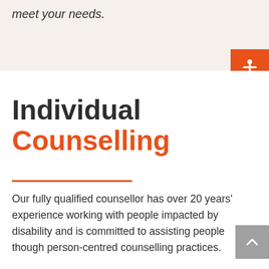meet your needs.
[Figure (illustration): Orange accessibility icon button showing a person with arms outstretched (universal accessibility symbol) on an orange square background, positioned at top right]
Individual Counselling
Our fully qualified counsellor has over 20 years' experience working with people impacted by disability and is committed to assisting people though person-centred counselling practices.
[Figure (illustration): Grey scroll-up button with upward chevron arrow, positioned at right side]